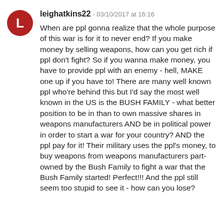leighatkins22 - 03/10/2017 at 16:16
When are ppl gonna realize that the whole purpose of this war is for it to never end? If you make money by selling weapons, how can you get rich if ppl don't fight? So if you wanna make money, you have to provide ppl with an enemy - hell, MAKE one up if you have to! There are many well known ppl who're behind this but I'd say the most well known in the US is the BUSH FAMILY - what better position to be in than to own massive shares in weapons manufacturers AND be in political power in order to start a war for your country? AND the ppl pay for it! Their military uses the ppl's money, to buy weapons from weapons manufacturers part-owned by the Bush Family to fight a war that the Bush Family started! Perfect!!! And the ppl still seem too stupid to see it - how can you lose?